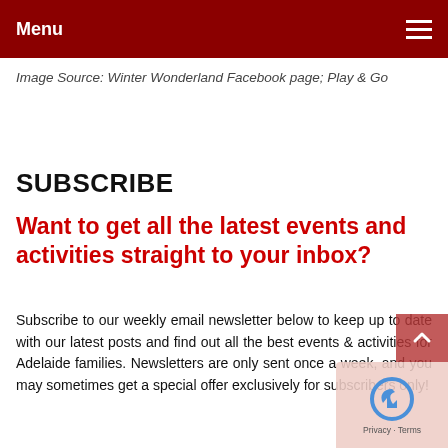Menu
Image Source: Winter Wonderland Facebook page; Play & Go
SUBSCRIBE
Want to get all the latest events and activities straight to your inbox?
Subscribe to our weekly email newsletter below to keep up to date with our latest posts and find out all the best events & activities for Adelaide families. Newsletters are only sent once a week, and you may sometimes get a special offer exclusively for subscribers only!